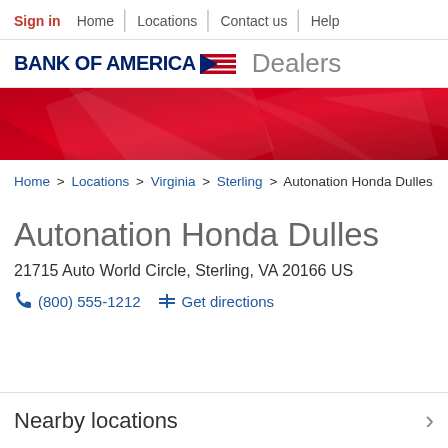Sign in | Home | Locations | Contact us | Help
[Figure (logo): Bank of America logo with flag icon and 'Dealers' text]
[Figure (illustration): Red decorative banner with diagonal light reflections]
Home > Locations > Virginia > Sterling > Autonation Honda Dulles
Autonation Honda Dulles
21715 Auto World Circle, Sterling, VA 20166 US
(800) 555-1212  Get directions
Nearby locations